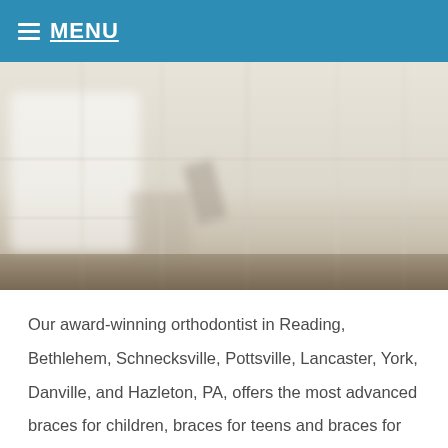MENU
[Figure (photo): Blurred photograph of a dental or orthodontist office interior showing chairs and equipment]
Our award-winning orthodontist in Reading, Bethlehem, Schnecksville, Pottsville, Lancaster, York, Danville, and Hazleton, PA, offers the most advanced braces for children, braces for teens and braces for adults. These